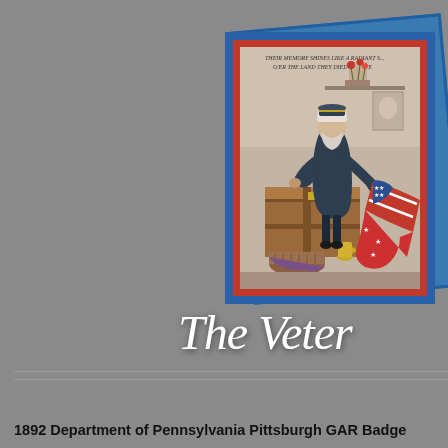[Figure (illustration): A vintage illustration card showing an elderly Civil War veteran in dark coat and kepi hat, kneeling beside a wooden trunk and holding an American flag with stars. A floral plant is in the background. The card has a blue border with red inner stripes. Text at top reads 'THEIR MEMORY SHINES LIKE A RADIANT S... O'ER THE LAND THEY DIED TO SAVE'. Two cards are stacked slightly offset.]
The Veter
1892 Department of Pennsylvania Pittsburgh GAR Badge